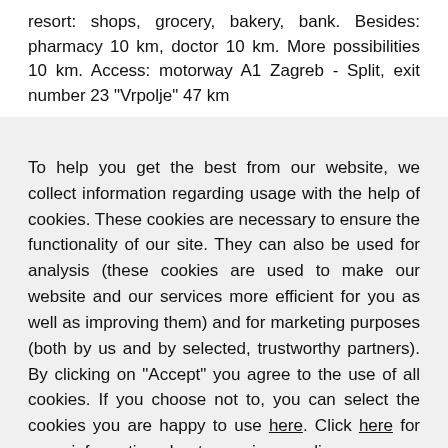resort: shops, grocery, bakery, bank. Besides: pharmacy 10 km, doctor 10 km. More possibilities 10 km. Access: motorway A1 Zagreb - Split, exit number 23 "Vrpolje" 47 km
To help you get the best from our website, we collect information regarding usage with the help of cookies. These cookies are necessary to ensure the functionality of our site. They can also be used for analysis (these cookies are used to make our website and our services more efficient for you as well as improving them) and for marketing purposes (both by us and by selected, trustworthy partners). By clicking on "Accept" you agree to the use of all cookies. If you choose not to, you can select the cookies you are happy to use here. Click here for more information about our privacy policy.
Accept
Decline
Configure